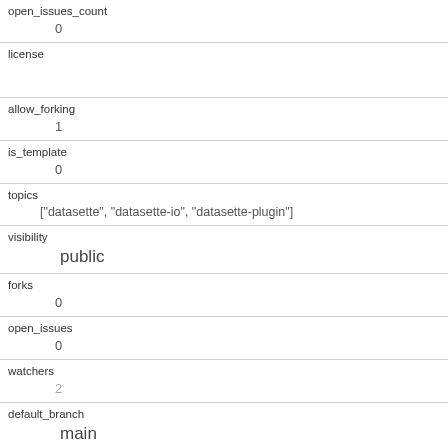| open_issues_count | 0 |
| license |  |
| allow_forking | 1 |
| is_template | 0 |
| topics | ["datasette", "datasette-io", "datasette-plugin"] |
| visibility | public |
| forks | 0 |
| open_issues | 0 |
| watchers | 2 |
| default_branch | main |
| organization |  |